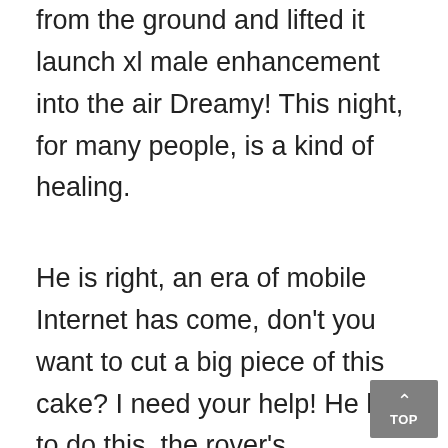from the ground and lifted it launch xl male enhancement into the air Dreamy! This night, for many people, is a kind of healing.
He is right, an era of mobile Internet has come, don't you want to cut a big piece of this cake? I need your help! He has to do this, the rover's smartphone operating system has been completed to this point The construction best legal hgh Extenze Male Enhancement 30 Tablets best sexual male enhancement